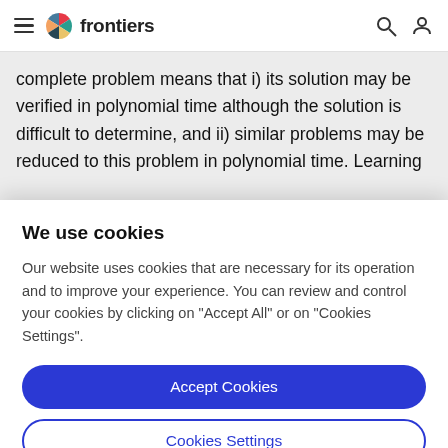frontiers (navigation bar with logo, hamburger menu, search, and user icons)
complete problem means that i) its solution may be verified in polynomial time although the solution is difficult to determine, and ii) similar problems may be reduced to this problem in polynomial time. Learning
We use cookies
Our website uses cookies that are necessary for its operation and to improve your experience. You can review and control your cookies by clicking on "Accept All" or on "Cookies Settings".
Accept Cookies
Cookies Settings